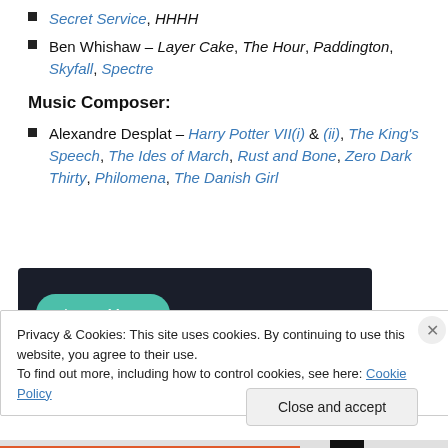Secret Service, HHHH
Ben Whishaw – Layer Cake, The Hour, Paddington, Skyfall, Spectre
Music Composer:
Alexandre Desplat – Harry Potter VII(i) & (ii), The King's Speech, The Ides of March, Rust and Bone, Zero Dark Thirty, Philomena, The Danish Girl
[Figure (screenshot): Dark banner with teal 'Learn More' button]
Privacy & Cookies: This site uses cookies. By continuing to use this website, you agree to their use. To find out more, including how to control cookies, see here: Cookie Policy
Close and accept